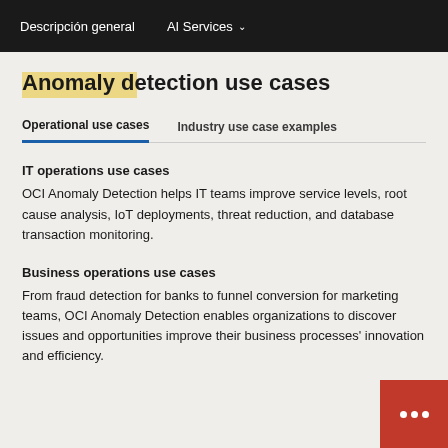Descripción general   AI Services
Anomaly detection use cases
Operational use cases
Industry use case examples
IT operations use cases
OCI Anomaly Detection helps IT teams improve service levels, root cause analysis, IoT deployments, threat reduction, and database transaction monitoring.
Business operations use cases
From fraud detection for banks to funnel conversion for marketing teams, OCI Anomaly Detection enables organizations to discover issues and opportunities improve their business processes' innovation and efficiency.